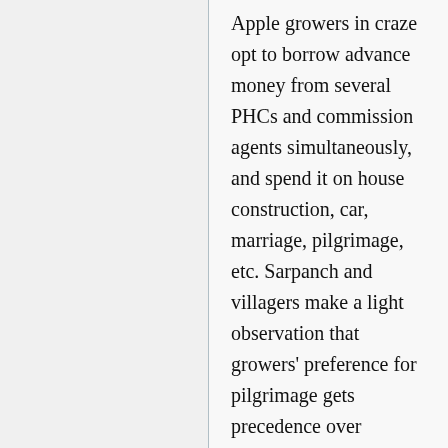Apple growers in craze opt to borrow advance money from several PHCs and commission agents simultaneously, and spend it on house construction, car, marriage, pilgrimage, etc. Sarpanch and villagers make a light observation that growers' preference for pilgrimage gets precedence over managing own orchard. Advance money taken from commission agents comes handy. Houses in Menzseer are pucca, strong and beautiful though same may not apply to the future of farmers. New pucca houses constructed in Menzseer hide actual precarious condition of villagers. As captive growers/